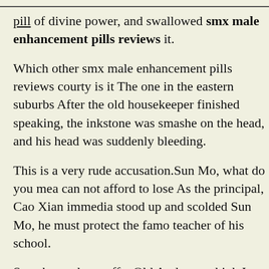pill of divine power, and swallowed smx male enhancement pills reviews it.
Which other smx male enhancement pills reviews courty is it The one in the eastern suburbs After the old housekeeper finished speaking, the inkstone was smashed on the head, and his head was suddenly bleeding.
This is a very rude accusation.Sun Mo, what do you mean can not afford to lose As the principal, Cao Xian immediately stood up and scolded Sun Mo, he must protect the famous teacher of his school.
Scarabs made an offer.Old A, do you think I am a fool The scarab was stunned.Even if I want to give you freedom, wait until you get the funeral items for me Sun Mo was speechless Lao Jia, have you been homeless for hundreds of thousands of years, and already have dementia The scarab was stunned, it seems that this is the truth. The